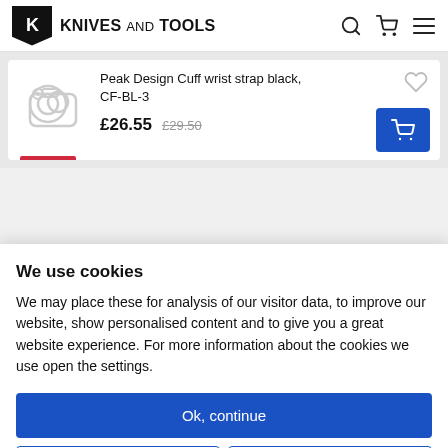KNIVES AND TOOLS
[Figure (screenshot): Product card showing Peak Design Cuff wrist strap black, CF-BL-3 with camera placeholder icon, price £26.55 (was £29.50), blue add to cart button, heart/wishlist icon, and red discount indicator bar]
We use cookies
We may place these for analysis of our visitor data, to improve our website, show personalised content and to give you a great website experience. For more information about the cookies we use open the settings.
Ok, continue
Deny
No, adjust